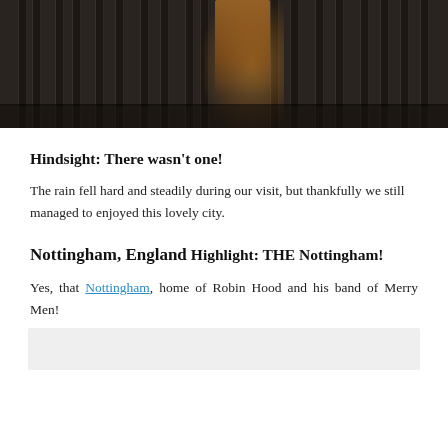[Figure (photo): Photo of a gothic stone cathedral or church facade with tall columns and a glowing warm-lit doorway, taken at dusk or night, with a dark pavement in the foreground.]
Hindsight: There wasn't one!
The rain fell hard and steadily during our visit, but thankfully we still managed to enjoyed this lovely city.
Nottingham, England
Highlight: THE Nottingham!
Yes, that Nottingham, home of Robin Hood and his band of Merry Men!
[Figure (photo): Partial gray/light colored image at the bottom of the page, partially cut off.]